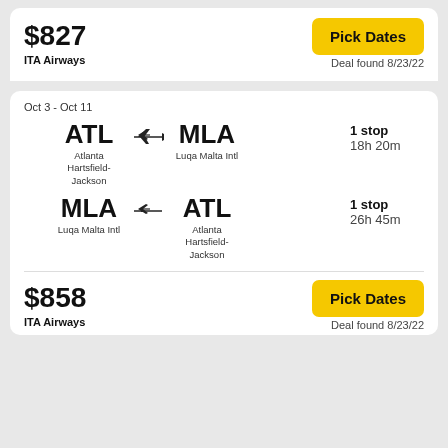$827
Pick Dates
ITA Airways
Deal found 8/23/22
Oct 3 - Oct 11
ATL → MLA, Atlanta Hartsfield-Jackson → Luqa Malta Intl, 1 stop, 18h 20m
MLA → ATL, Luqa Malta Intl → Atlanta Hartsfield-Jackson, 1 stop, 26h 45m
$858
Pick Dates
ITA Airways
Deal found 8/23/22